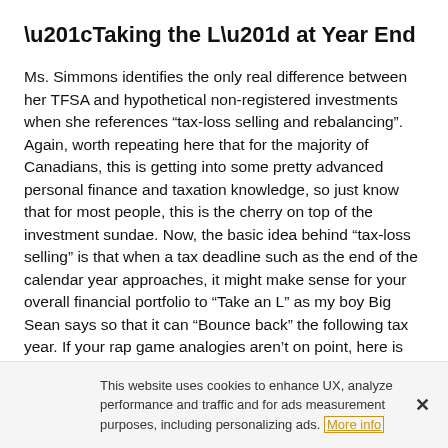“Taking the L” at Year End
Ms. Simmons identifies the only real difference between her TFSA and hypothetical non-registered investments when she references “tax-loss selling and rebalancing”. Again, worth repeating here that for the majority of Canadians, this is getting into some pretty advanced personal finance and taxation knowledge, so just know that for most people, this is the cherry on top of the investment sundae. Now, the basic idea behind “tax-loss selling” is that when a tax deadline such as the end of the calendar year approaches, it might make sense for your overall financial portfolio to “Take an L” as my boy Big Sean says so that it can “Bounce back” the following tax year. If your rap game analogies aren’t on point, here is the slightly more vanilla description.
This website uses cookies to enhance UX, analyze performance and traffic and for ads measurement purposes, including personalizing ads. More info